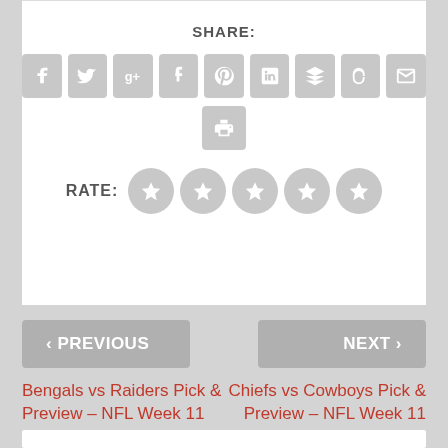SHARE:
[Figure (infographic): Social share buttons: Facebook, Twitter, Google+, Tumblr, Pinterest, LinkedIn, Buffer, StumbleUpon, Email, Print]
RATE:
[Figure (infographic): 5 star rating icons (grey circles with stars)]
< PREVIOUS
NEXT >
Bengals vs Raiders Pick & Preview – NFL Week 11
Chiefs vs Cowboys Pick & Preview – NFL Week 11